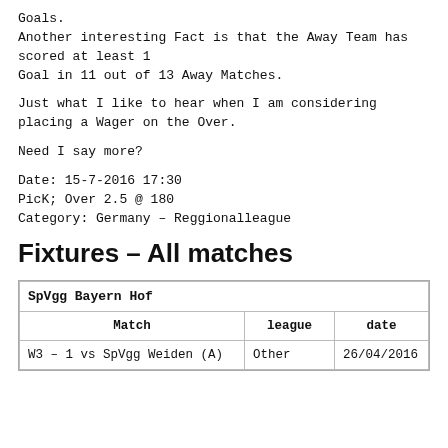Goals.
Another interesting Fact is that the Away Team has scored at least 1
Goal in 11 out of 13 Away Matches.
Just what I like to hear when I am considering placing a Wager on the Over.
Need I say more?
Date: 15-7-2016 17:30
PicK; Over 2.5 @ 180
Category: Germany – Reggionalleague
Fixtures – All matches
| Match | league | date |
| --- | --- | --- |
| W3 – 1 vs SpVgg Weiden (A) | Other | 26/04/2016 |